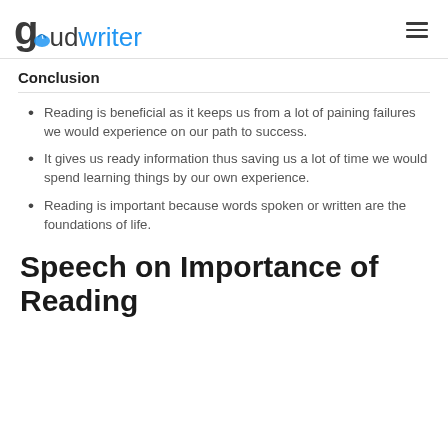gudwriter
Conclusion
Reading is beneficial as it keeps us from a lot of paining failures we would experience on our path to success.
It gives us ready information thus saving us a lot of time we would spend learning things by our own experience.
Reading is important because words spoken or written are the foundations of life.
Speech on Importance of Reading